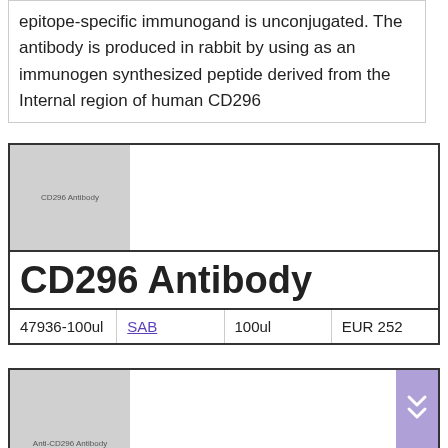epitope-specific immunogand is unconjugated. The antibody is produced in rabbit by using as an immunogen synthesized peptide derived from the Internal region of human CD296
[Figure (photo): Gray placeholder image for CD296 Antibody product]
CD296 Antibody
| 47936-100ul | SAB | 100ul | EUR 252 |
| --- | --- | --- | --- |
[Figure (photo): Gray placeholder image for Anti-CD296 Antibody product (partial, bottom of page)]